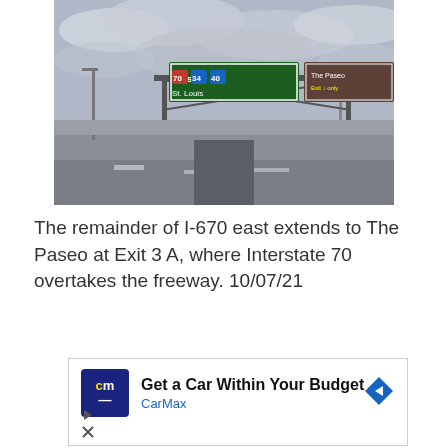[Figure (photo): Highway photo showing an empty freeway with overhead green directional signs indicating East 70, 34, 40 toward St. Louis and The Paseo exit, under a cloudy sky.]
The remainder of I-670 east extends to The Paseo at Exit 3 A, where Interstate 70 overtakes the freeway. 10/07/21
[Figure (other): CarMax advertisement banner with logo and text: Get a Car Within Your Budget / CarMax]